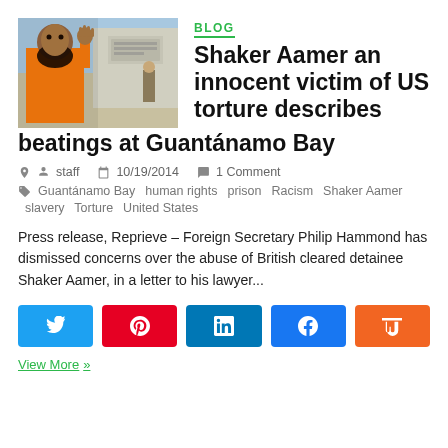[Figure (photo): Photo of Shaker Aamer in orange jumpsuit waving, alongside Guantanamo Bay detention center exterior]
BLOG
Shaker Aamer an innocent victim of US torture describes beatings at Guantánamo Bay
staff  10/19/2014  1 Comment
Guantánamo Bay  human rights  prison  Racism  Shaker Aamer  slavery  Torture  United States
Press release, Reprieve – Foreign Secretary Philip Hammond has dismissed concerns over the abuse of British cleared detainee Shaker Aamer, in a letter to his lawyer...
[Figure (other): Social share buttons: Twitter, Pinterest, LinkedIn, Facebook, Mix]
View More »